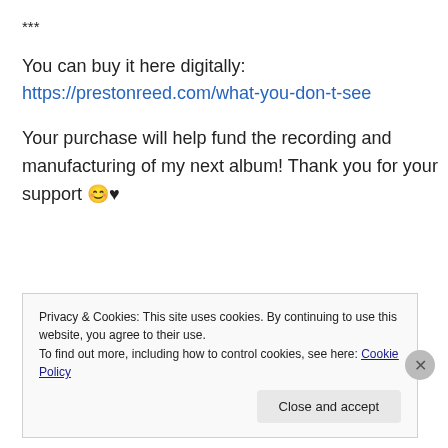***
You can buy it here digitally: https://prestonreed.com/what-you-don-t-see
Your purchase will help fund the recording and manufacturing of my next album! Thank you for your support 😊♥
Privacy & Cookies: This site uses cookies. By continuing to use this website, you agree to their use.
To find out more, including how to control cookies, see here: Cookie Policy
Close and accept